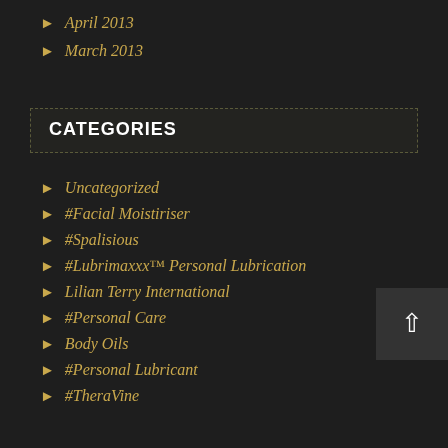April 2013
March 2013
CATEGORIES
Uncategorized
#Facial Moistiriser
#Spalisious
#Lubrimaxxx™ Personal Lubrication
Lilian Terry International
#Personal Care
Body Oils
#Personal Lubricant
#TheraVine